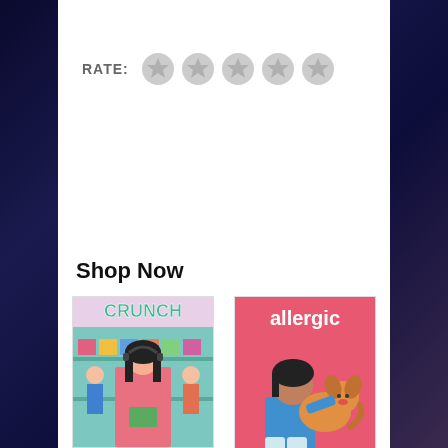[Figure (other): Five empty grey star icons for rating]
RATE:
Shop Now
[Figure (illustration): Book cover: Crunch (A Click Graphic Novel, 5) - illustrated cover showing a girl with headphones surrounded by people]
Crunch (A Click Graphic Novel, 5)
[Figure (illustration): Book cover: Allergic: A Graphic Novel - pink cover showing a girl hugging a dog]
Allergic: A Graphic Novel